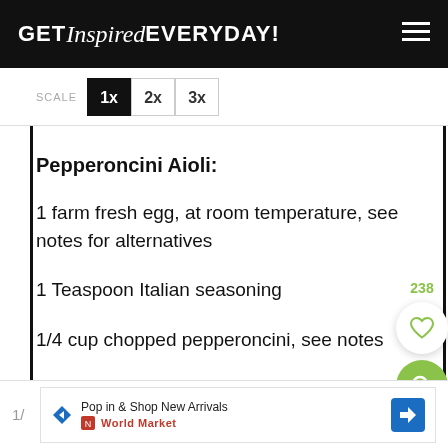GET Inspired EVERYDAY!
SCALE  1x  2x  3x
Pepperoncini Aioli:
1 farm fresh egg, at room temperature, see notes for alternatives
1 Teaspoon Italian seasoning
1/4 cup chopped pepperoncini, see notes
Pop in & Shop New Arrivals  World Market  1/